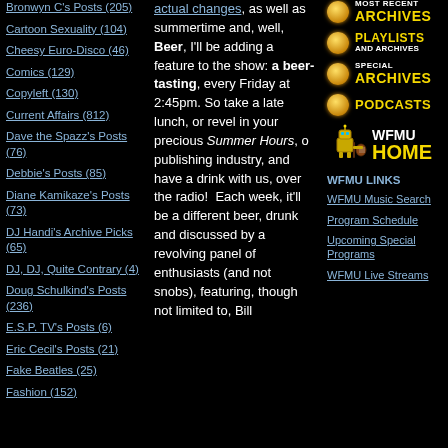Bronwyn C's Posts (205)
Cartoon Sexuality (104)
Cheesy Euro-Disco (46)
Comics (129)
Copyleft (130)
Current Affairs (812)
Dave the Spazz's Posts (76)
Debbie's Posts (85)
Diane Kamikaze's Posts (73)
DJ Handi's Archive Picks (65)
DJ, DJ, Quite Contrary (4)
Doug Schulkind's Posts (236)
E.S.P. TV's Posts (6)
Eric Cecil's Posts (21)
Fake Beatles (25)
Fashion (152)
actual changes, as well as summertime and, well, Beer, I'll be adding a feature to the show: a beer-tasting, every Friday at 2:45pm. So take a late lunch, or revel in your precious Summer Hours, o publishing industry, and have a drink with us, over the radio!  Each week, it'll be a different beer, drunk and discussed by a revolving panel of enthusiasts (and not snobs), featuring, though not limited to, Bill
[Figure (infographic): Most Recent Archives button with orange bullet]
[Figure (infographic): Playlists and Archives button with orange bullet]
[Figure (infographic): Special Archives button with orange bullet]
[Figure (infographic): Podcasts button with orange bullet]
[Figure (logo): WFMU Home logo with robot mascot playing guitar]
WFMU LINKS
WFMU Music Search
Program Schedule
Upcoming Special Programs
WFMU Live Streams